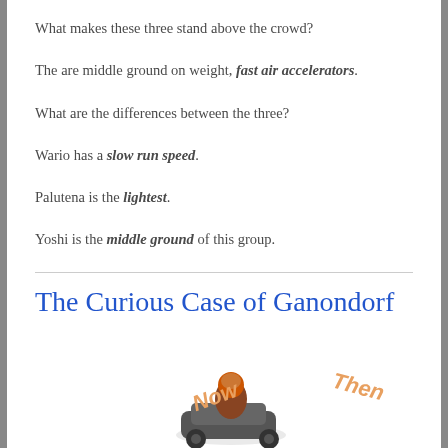What makes these three stand above the crowd?
The are middle ground on weight, fast air accelerators.
What are the differences between the three?
Wario has a slow run speed.
Palutena is the lightest.
Yoshi is the middle ground of this group.
The Curious Case of Ganondorf
[Figure (photo): Character comparison image showing a game character (Ganondorf) with 'Now' and 'Then' orange italic labels on either side.]